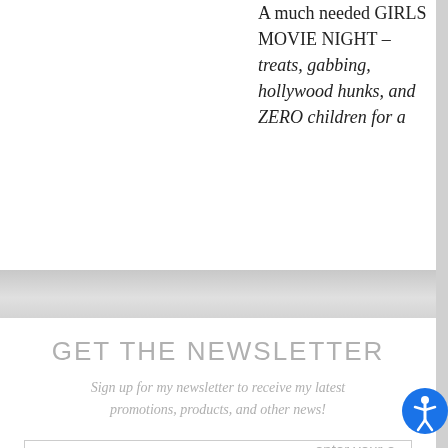A much needed GIRLS MOVIE NIGHT – treats, gabbing, hollywood hunks, and ZERO children for a
GET THE NEWSLETTER
Sign up for my newsletter to receive my latest promotions, products, and other news!
enter your e
sign up